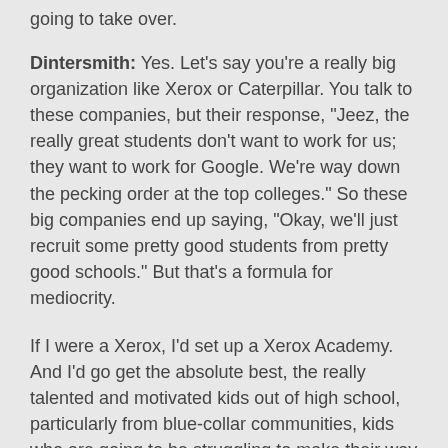going to take over.
Dintersmith: Yes. Let’s say you’re a really big organization like Xerox or Caterpillar. You talk to these companies, but their response, “Jeez, the really great students don’t want to work for us; they want to work for Google. We’re way down the pecking order at the top colleges.” So these big companies end up saying, “Okay, we’ll just recruit some pretty good students from pretty good schools.” But that’s a formula for mediocrity.
If I were a Xerox, I’d set up a Xerox Academy. And I’d go get the absolute best, the really talented and motivated kids out of high school, particularly from blue-collar communities, kids who are going to be struggling to make their way forward. I’d make the school selective and say, “You